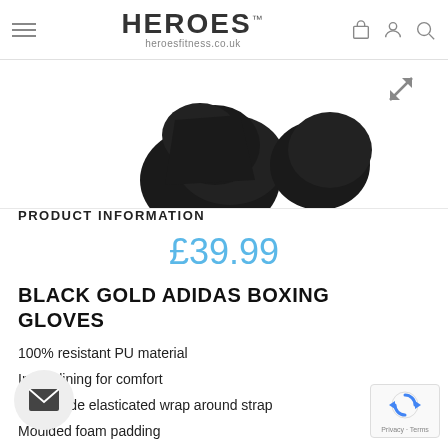HEROES™ heroesfitness.co.uk
[Figure (photo): Black Adidas boxing gloves product photo, partially visible, on white background with expand/fullscreen icon in bottom right corner]
PRODUCT INFORMATION
£39.99
BLACK GOLD ADIDAS BOXING GLOVES
100% resistant PU material
Inside lining for comfort
75cm wide elasticated wrap around strap
Moulded foam padding